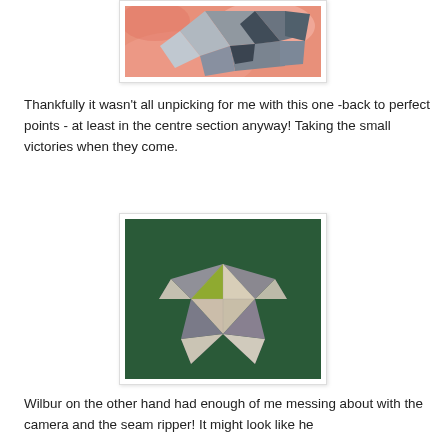[Figure (photo): Origami-style folded gray/dark paper pieces on a salmon/coral swirled background, viewed from above.]
Thankfully it wasn't all unpicking for me with this one -back to perfect points - at least in the centre section anyway!  Taking the small victories when they come.
[Figure (photo): Close-up of a quilt top made of triangle patches in cream, gray, charcoal, and a single yellow-green triangle, showing neat points where the pieces meet, on a dark green background.]
Wilbur on the other hand had enough of me messing about with the camera and the seam ripper!   It might look like he